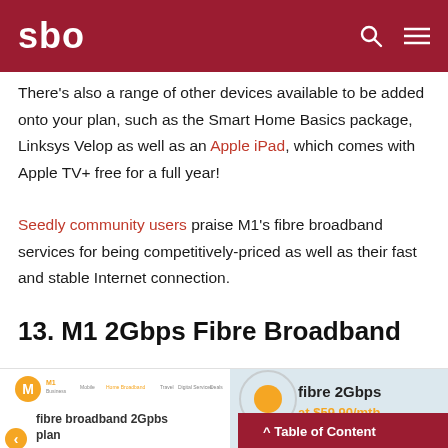sbo
There’s also a range of other devices available to be added onto your plan, such as the Smart Home Basics package, Linksys Velop as well as an Apple iPad, which comes with Apple TV+ free for a full year!
Seedly community users praise M1’s fibre broadband services for being competitively-priced as well as their fast and stable Internet connection.
13. M1 2Gbps Fibre Broadband
[Figure (screenshot): Screenshot of M1 website showing fibre broadband 2Gbps plan page with navigation bar and product hero image showing 'fibre 2Gbps at $59.90/mth']